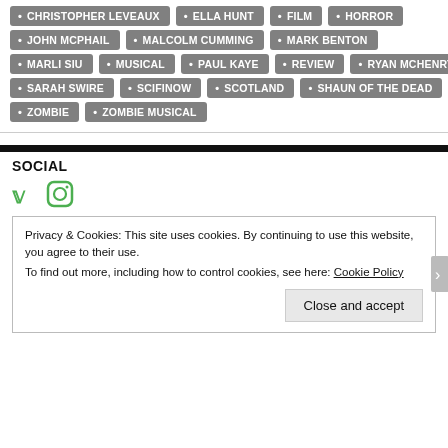CHRISTOPHER LEVEAUX
ELLA HUNT
FILM
HORROR
JOHN MCPHAIL
MALCOLM CUMMING
MARK BENTON
MARLI SIU
MUSICAL
PAUL KAYE
REVIEW
RYAN MCHENRY
SARAH SWIRE
SCIFINOW
SCOTLAND
SHAUN OF THE DEAD
ZOMBIE
ZOMBIE MUSICAL
SOCIAL
[Figure (infographic): Twitter and Instagram social icons in green]
Privacy & Cookies: This site uses cookies. By continuing to use this website, you agree to their use. To find out more, including how to control cookies, see here: Cookie Policy
Close and accept